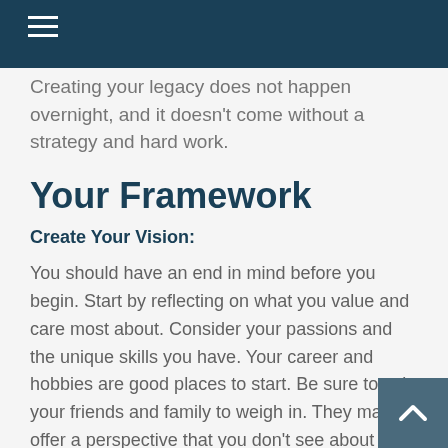Creating your legacy does not happen overnight, and it doesn't come without a strategy and hard work.
Your Framework
Create Your Vision:
You should have an end in mind before you begin. Start by reflecting on what you value and care most about. Consider your passions and the unique skills you have. Your career and hobbies are good places to start. Be sure to ask your friends and family to weigh in. They may offer a perspective that you don't see about yourself.